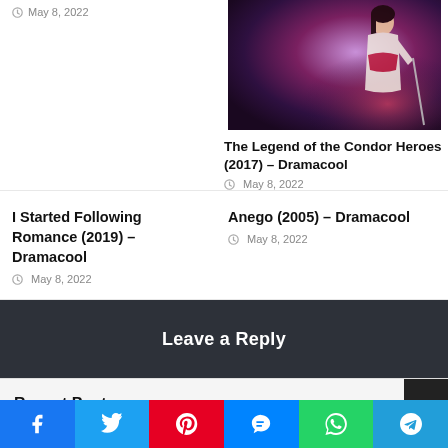May 8, 2022
[Figure (photo): Thumbnail image for The Legend of the Condor Heroes (2017) – a figure in traditional Chinese costume against a purple/red background]
The Legend of the Condor Heroes (2017) – Dramacool
May 8, 2022
I Started Following Romance (2019) – Dramacool
May 8, 2022
Anego (2005) – Dramacool
May 8, 2022
Leave a Reply
Recent Posts